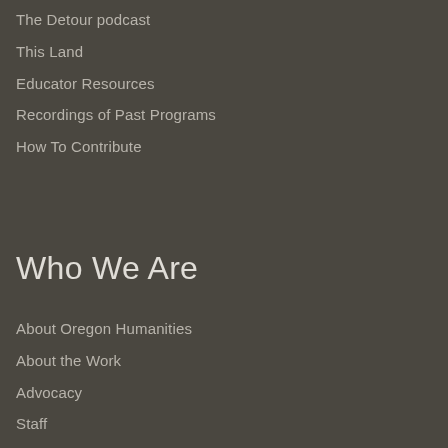The Detour podcast
This Land
Educator Resources
Recordings of Past Programs
How To Contribute
Who We Are
About Oregon Humanities
About the Work
Advocacy
Staff
Board of Directors
Jobs & Opportunities